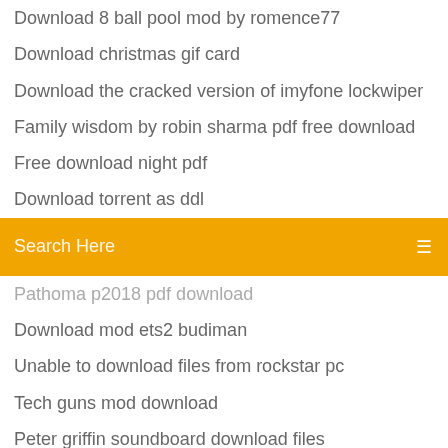Download 8 ball pool mod by romence77
Download christmas gif card
Download the cracked version of imyfone lockwiper
Family wisdom by robin sharma pdf free download
Free download night pdf
Download torrent as ddl
[Figure (screenshot): Search bar with orange background showing 'Search Here' placeholder text and a search icon on the right]
Pathoma p2018 pdf download
Download mod ets2 budiman
Unable to download files from rockstar pc
Tech guns mod download
Peter griffin soundboard download files
Download drivers hp pavilion 061
Download picture from pc to iphone 5
How to download walmart apps in my pc
Jaws pc game download
Xbox one minecraft download
Plant vs zombies 2 game download for pc